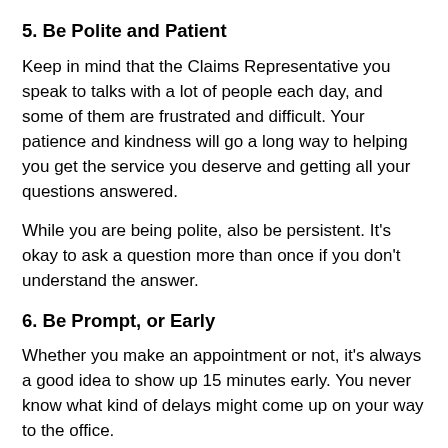5. Be Polite and Patient
Keep in mind that the Claims Representative you speak to talks with a lot of people each day, and some of them are frustrated and difficult. Your patience and kindness will go a long way to helping you get the service you deserve and getting all your questions answered.
While you are being polite, also be persistent. It's okay to ask a question more than once if you don't understand the answer.
6.  Be Prompt, or Early
Whether you make an appointment or not, it's always a good idea to show up 15 minutes early. You never know what kind of delays might come up on your way to the office.
If you can't make an appointment, you can just show up. Arrive early, as close to 9am (when the office actually opens its doors) as possible. Many people do not make